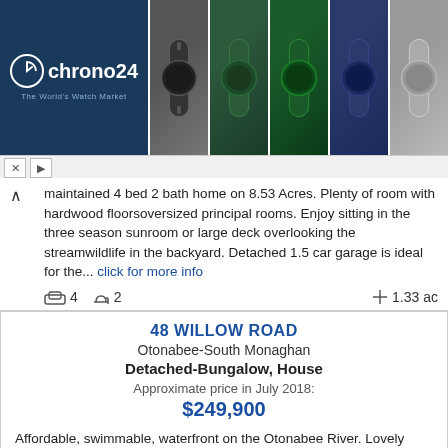[Figure (photo): Chrono24 advertisement banner showing logo on dark blue background with watch photos]
maintained 4 bed 2 bath home on 8.53 Acres. Plenty of room with hardwood floorsoversized principal rooms. Enjoy sitting in the three season sunroom or large deck overlooking the streamwildlife in the backyard. Detached 1.5 car garage is ideal for the... click for more info
4  2  1.33 ac
48 WILLOW ROAD
Otonabee-South Monaghan
Detached-Bungalow, House
Approximate price in July 2018:
$249,900
Affordable, swimmable, waterfront on the Otonabee River. Lovely boardbatten four season home on Trent Severn waterway. Features spacious diningliving room overlooking river, kitchen, main floor family room with wett certified wood stove, newer forced air... click for more info
2  2  under 1/2 acre